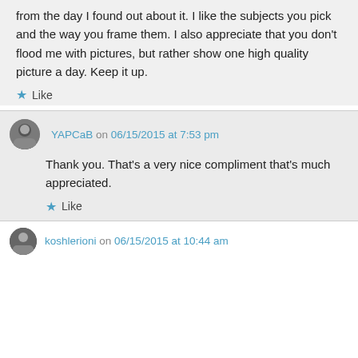from the day I found out about it. I like the subjects you pick and the way you frame them. I also appreciate that you don't flood me with pictures, but rather show one high quality picture a day. Keep it up.
Like
YAPCaB on 06/15/2015 at 7:53 pm
Thank you. That's a very nice compliment that's much appreciated.
Like
koshlerioni on 06/15/2015 at 10:44 am